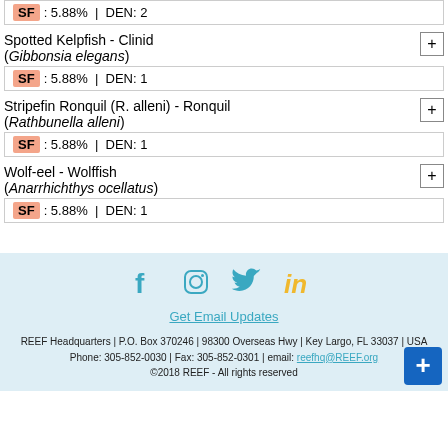SF: 5.88% | DEN: 2
Spotted Kelpfish - Clinid (Gibbonsia elegans)
SF: 5.88% | DEN: 1
Stripefin Ronquil (R. alleni) - Ronquil (Rathbunella alleni)
SF: 5.88% | DEN: 1
Wolf-eel - Wolffish (Anarrhichthys ocellatus)
SF: 5.88% | DEN: 1
Get Email Updates
REEF Headquarters | P.O. Box 370246 | 98300 Overseas Hwy | Key Largo, FL 33037 | USA
Phone: 305-852-0030 | Fax: 305-852-0301 | email: reefhq@REEF.org
©2018 REEF - All rights reserved